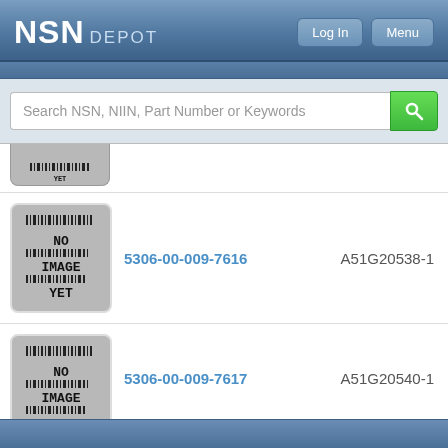NSN DEPOT
Search NSN, NIIN, Part Number or Keywords
[Figure (screenshot): No image placeholder thumbnail partially visible at top]
5306-00-009-7616  A51G20538-1
[Figure (screenshot): No image placeholder thumbnail for NSN 5306-00-009-7616]
5306-00-009-7617  A51G20540-1
[Figure (screenshot): No image placeholder thumbnail for NSN 5306-00-009-7617]